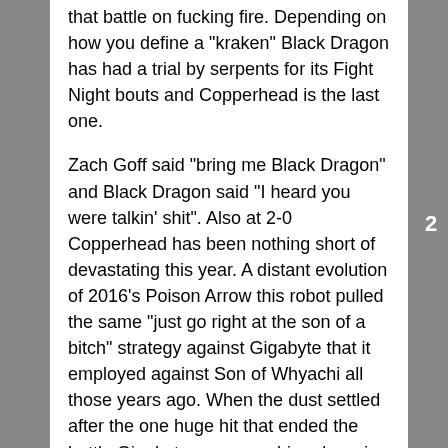that battle on fucking fire. Depending on how you define a "kraken" Black Dragon has had a trial by serpents for its Fight Night bouts and Copperhead is the last one.

Zach Goff said "bring me Black Dragon" and Black Dragon said "I heard you were talkin' shit". Also at 2-0 Copperhead has been nothing short of devastating this year. A distant evolution of 2016's Poison Arrow this robot pulled the same "just go right at the son of a bitch" strategy against Gigabyte that it employed against Son of Whyachi all those years ago. When the dust settled after the one huge hit that ended the battle Gigabyte came crashing down in two goddamned pieces: a candy dish, and the rest of the robot. Copperhead then met up with the Formula One-esque P1 and settled that match in nearly one shot. One hit sent P1 flipping through the air and quite nearly knocked it out. It took a follow up hit to blow the race car to kingdom come but hey that just means we got two impressive hits instead of one. Black Dragon eats away at opponents. Copperhead just blows
2